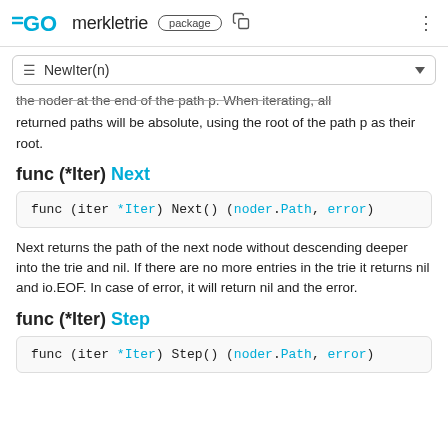GO merkletrie package
≡ NewIter(n)
the noder at the end of the path p. When iterating, all returned paths will be absolute, using the root of the path p as their root.
func (*Iter) Next
func (iter *Iter) Next() (noder.Path, error)
Next returns the path of the next node without descending deeper into the trie and nil. If there are no more entries in the trie it returns nil and io.EOF. In case of error, it will return nil and the error.
func (*Iter) Step
func (iter *Iter) Step() (noder.Path, error)